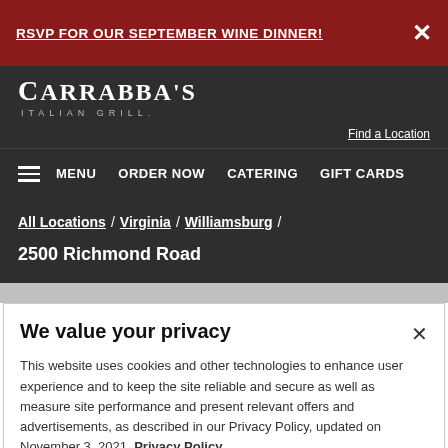RSVP FOR OUR SEPTEMBER WINE DINNER!
[Figure (logo): Carrabba's Italian Grill logo in white text on dark background]
Find a Location
MENU  ORDER NOW  CATERING  GIFT CARDS
All Locations / Virginia / Williamsburg /
2500 Richmond Road
We value your privacy
This website uses cookies and other technologies to enhance user experience and to keep the site reliable and secure as well as measure site performance and present relevant offers and advertisements, as described in our Privacy Policy, updated on November 3, 2021. Privacy Policy